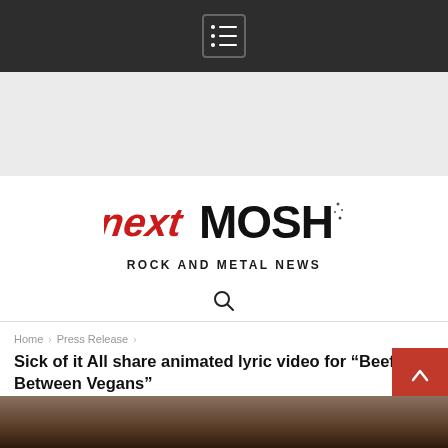Navigation menu icon
[Figure (other): Gray banner/advertisement area]
[Figure (logo): nextMOSH logo — 'next' in red italic grunge style, 'MOSH' in black distressed heavy metal font]
ROCK AND METAL NEWS
[Figure (other): Search icon (magnifying glass)]
Home › Press Release ›
Sick of it All share animated lyric video for "Beef Between Vegans"
[Figure (photo): Partial thumbnail image at the bottom of the page showing a dark/brown textured surface]